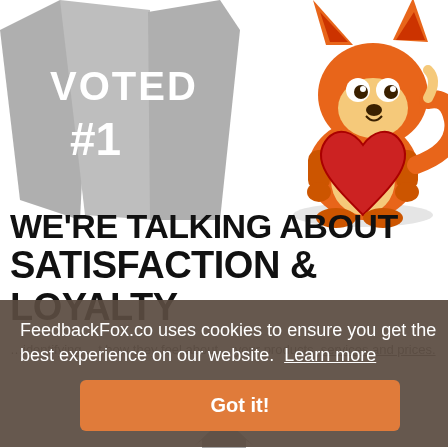[Figure (illustration): Cartoon fox mascot holding a large red heart, next to gray 'VOTED #1' ribbon/badge illustration]
WE'RE TALKING ABOUT SATISFACTION & LOYALTY
...identifying ...t how they feel about...your products, services and prices.
[Figure (infographic): Cookie consent banner overlay reading: FeedbackFox.co uses cookies to ensure you get the best experience on our website. Learn more. Got it! button.]